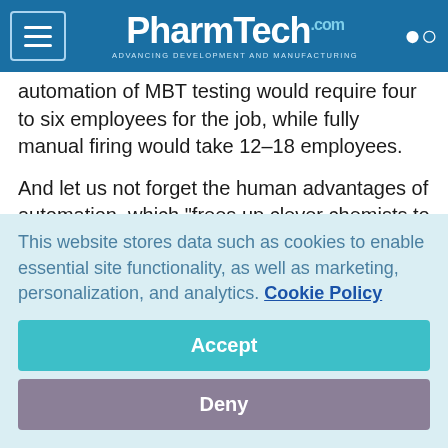PharmTech.com — Advancing Development and Manufacturing
automation of MBT testing would require four to six employees for the job, while fully manual firing would take 12–18 employees.
And let us not forget the human advantages of automation, which "frees up clever chemists to use their brain, instead of their hands," according to Stephen Fleck, consulting business manager at TTP LabTech (UK), a company with 20 years experience of providing custom automation solutions in both
This website stores data such as cookies to enable essential site functionality, as well as marketing, personalization, and analytics. Cookie Policy
Accept
Deny